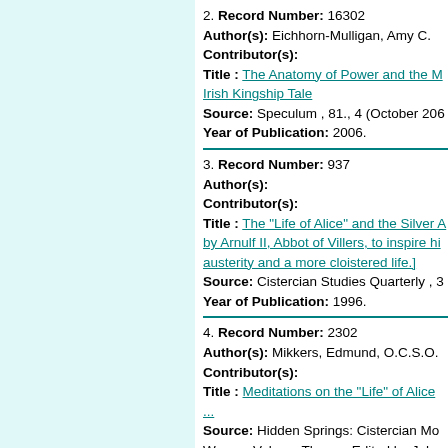2. Record Number: 16302 Author(s): Eichhorn-Mulligan, Amy C. Contributor(s): Title : The Anatomy of Power and the Irish Kingship Tale Source: Speculum , 81., 4 (October 20... Year of Publication: 2006.
3. Record Number: 937 Author(s): Contributor(s): Title : The "Life of Alice" and the Silver A... by Arnulf II, Abbot of Villers, to inspire hi... austerity and a more cloistered life.] Source: Cistercian Studies Quarterly , 3... Year of Publication: 1996.
4. Record Number: 2302 Author(s): Mikkers, Edmund, O.C.S.O. Contributor(s): Title : Meditations on the "Life" of Alice ... Source: Hidden Springs: Cistercian Mo... Women Volume Three.   Edited by John... Cistercian Studies Series .  Cistercian P... 1 ( 1996):  Pages 395 - 413. Year of Publication: 1995.